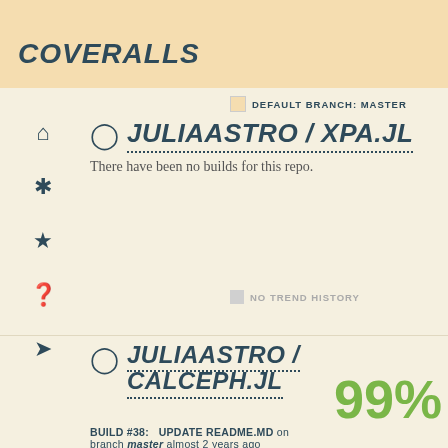COVERALLS
DEFAULT BRANCH: MASTER
JULIAASTRO / XPA.JL
There have been no builds for this repo.
NO TREND HISTORY
JULIAASTRO / CALCEPH.JL
99%
BUILD #38:   UPDATE README.MD on branch master almost 2 years ago